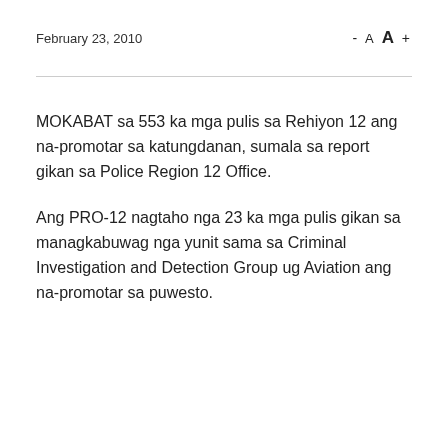February 23, 2010
MOKABAT sa 553 ka mga pulis sa Rehiyon 12 ang na-promotar sa katungdanan, sumala sa report gikan sa Police Region 12 Office.
Ang PRO-12 nagtaho nga 23 ka mga pulis gikan sa managkabuwag nga yunit sama sa Criminal Investigation and Detection Group ug Aviation ang na-promotar sa puwesto.